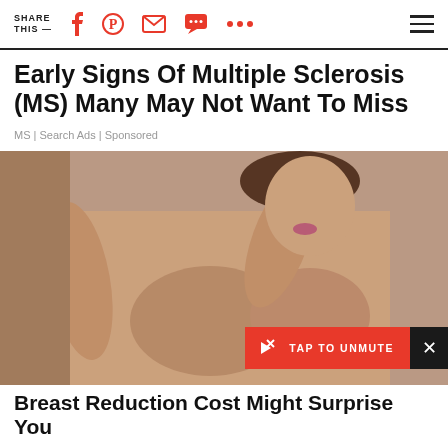SHARE THIS —
Early Signs Of Multiple Sclerosis (MS) Many May Not Want To Miss
MS | Search Ads | Sponsored
[Figure (photo): Woman in beige/nude strapless bra adjusting clothing, against neutral background. Video player overlay with red TAP TO UNMUTE button and X close button.]
Breast Reduction Cost Might Surprise You